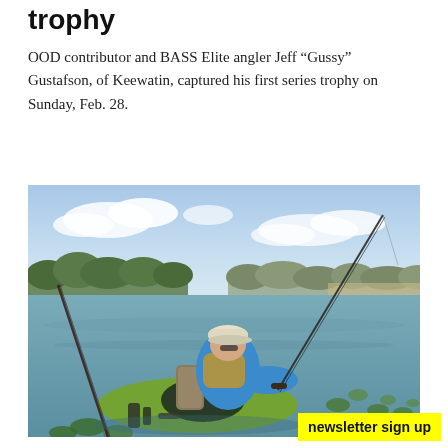trophy
OOD contributor and BASS Elite angler Jeff “Gussy” Gustafson, of Keewatin, captured his first series trophy on Sunday, Feb. 28.
[Figure (photo): A man wearing a blue long-sleeve shirt, white cap, and life vest sits in a green kayak on a calm water body with lily pads. He is casting a fishing rod. Trees and a cloudy sky are visible in the background.]
newsletter sign up